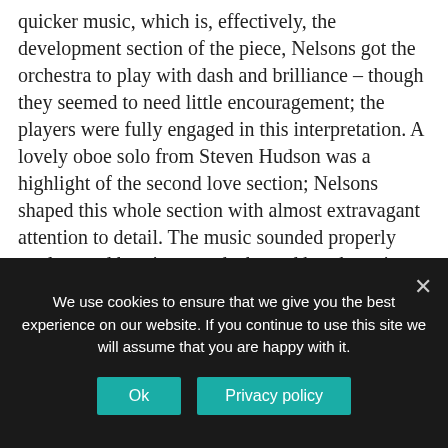quicker music, which is, effectively, the development section of the piece, Nelsons got the orchestra to play with dash and brilliance – though they seemed to need little encouragement; the players were fully engaged in this interpretation. A lovely oboe solo from Steven Hudson was a highlight of the second love section; Nelsons shaped this whole section with almost extravagant attention to detail. The music sounded properly opulent and heroic towards the end but the quiet conclusion of the work was marvellously achieved. The performance as a whole was splendidly played, including many excellent solo contributions: the evening had got
We use cookies to ensure that we give you the best experience on our website. If you continue to use this site we will assume that you are happy with it.